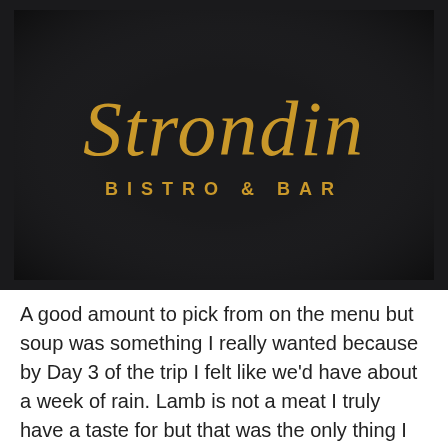[Figure (photo): A dark/black background with the Strondin Bistro & Bar logo in gold script lettering. The word 'Strondin' is written in a cursive/script style font, and below it 'BISTRO & BAR' is written in spaced capital letters, all in gold color against a near-black background.]
A good amount to pick from on the menu but soup was something I really wanted because by Day 3 of the trip I felt like we'd have about a week of rain. Lamb is not a meat I truly have a taste for but that was the only thing I could pick from because the other soup/stew was diary